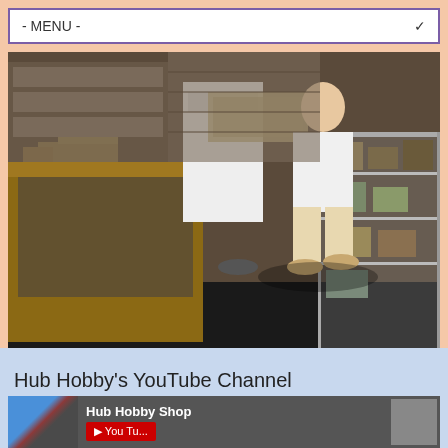- MENU -
[Figure (photo): A vintage photograph of a hobby shop interior showing a young boy crouching to look at model kits in a glass display case, with an adult behind the counter holding a tray of models, and shelves of military model kits visible in the background.]
Hub Hobby's YouTube Channel
Hub Hobby Shop